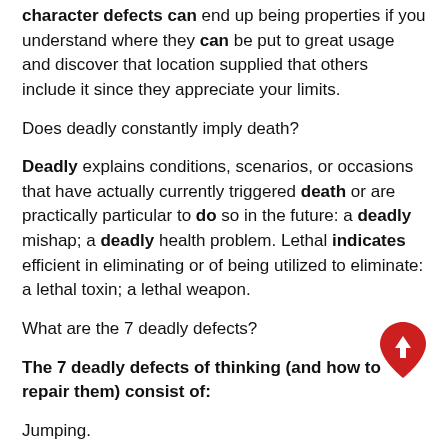character defects can end up being properties if you understand where they can be put to great usage and discover that location supplied that others include it since they appreciate your limits.
Does deadly constantly imply death?
Deadly explains conditions, scenarios, or occasions that have actually currently triggered death or are practically particular to do so in the future: a deadly mishap; a deadly health problem. Lethal indicates efficient in eliminating or of being utilized to eliminate: a lethal toxin; a lethal weapon.
What are the 7 deadly defects?
The 7 deadly defects of thinking (and how to repair them) consist of:
Jumping.
Fixation.
Overthinking.
Satisficing.